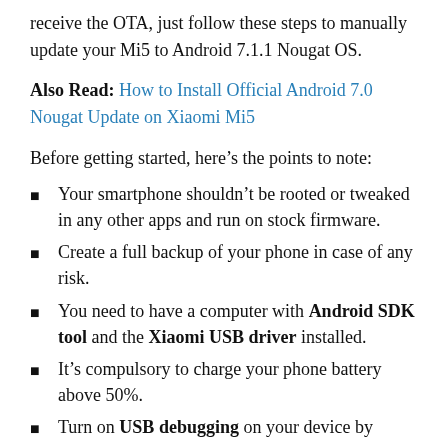receive the OTA, just follow these steps to manually update your Mi5 to Android 7.1.1 Nougat OS.
Also Read: How to Install Official Android 7.0 Nougat Update on Xiaomi Mi5
Before getting started, here’s the points to note:
Your smartphone shouldn’t be rooted or tweaked in any other apps and run on stock firmware.
Create a full backup of your phone in case of any risk.
You need to have a computer with Android SDK tool and the Xiaomi USB driver installed.
It’s compulsory to charge your phone battery above 50%.
Turn on USB debugging on your device by